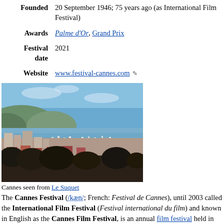| Founded | 20 September 1946; 75 years ago (as International Film Festival) |
| Awards | Palme d'Or, Grand Prix |
| Festival date | 2021 |
| Website | www.festival-cannes.com |
[Figure (photo): Aerial/elevated view of Cannes city and harbor with boats, buildings, hills and sea]
Cannes seen from Le Suquet
The Cannes Festival (/kæn/; French: Festival de Cannes), until 2003 called the International Film Festival (Festival international du film) and known in English as the Cannes Film Festival, is an annual film festival held in Cannes, France, which previews new films of all genres, including documentaries, from